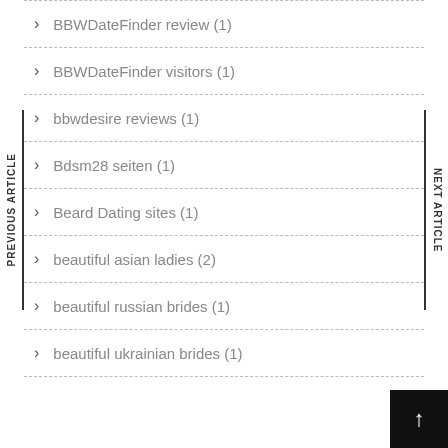BBWDateFinder review (1)
BBWDateFinder visitors (1)
bbwdesire reviews (1)
Bdsm28 seiten (1)
Beard Dating sites (1)
beautiful asian ladies (2)
beautiful russian brides (1)
beautiful ukrainian brides (1)